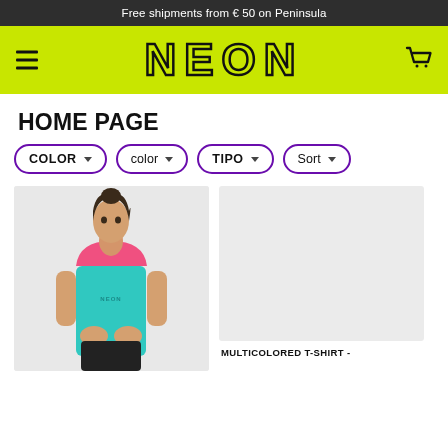Free shipments from € 50 on Peninsula
[Figure (logo): NEON brand logo with hamburger menu and shopping cart on lime green background]
HOME PAGE
COLOR ▾
color ▾
TIPO ▾
Sort ▾
[Figure (photo): Woman wearing a teal and pink athletic tank top with NEON logo, posing against light grey background]
[Figure (photo): Empty grey product image placeholder]
MULTICOLORED T-SHIRT -